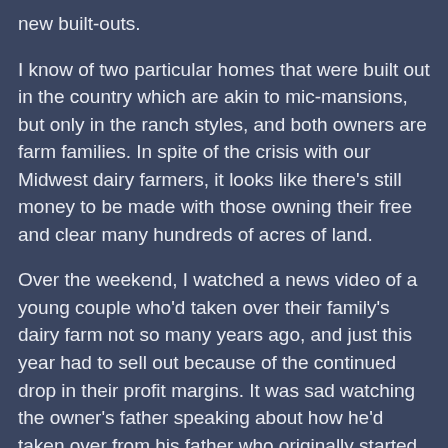new built-outs.
I know of two particular homes that were built out in the country which are akin to mic-mansions, but only in the ranch styles, and both owners are farm families. In spite of the crisis with our Midwest dairy farmers, it looks like there's still money to be made with those owning their free and clear many hundreds of acres of land.
Over the weekend, I watched a news video of a young couple who'd taken over their family's dairy farm not so many years ago, and just this year had to sell out because of the continued drop in their profit margins. It was sad watching the owner's father speaking about how he'd taken over from his father who originally started it. To think that family's dairy farm survived two generations, and in a very short time, the third generation had sell their herd